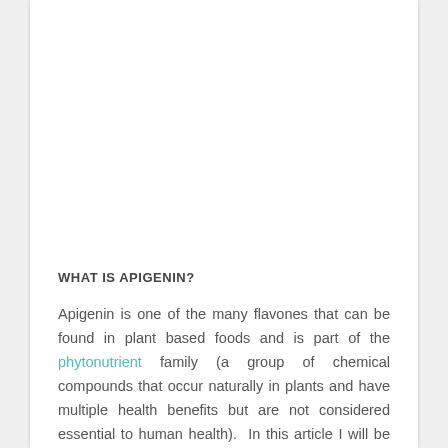WHAT IS APIGENIN?
Apigenin is one of the many flavones that can be found in plant based foods and is part of the phytonutrient family (a group of chemical compounds that occur naturally in plants and have multiple health benefits but are not considered essential to human health).  In this article I will be discussing apigenin in greater